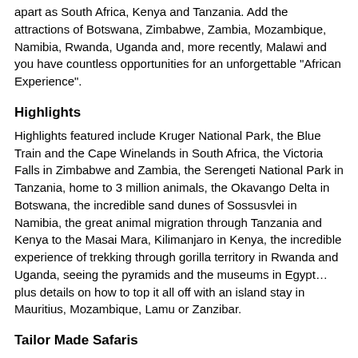apart as South Africa, Kenya and Tanzania. Add the attractions of Botswana, Zimbabwe, Zambia, Mozambique, Namibia, Rwanda, Uganda and, more recently, Malawi and you have countless opportunities for an unforgettable "African Experience".
Highlights
Highlights featured include Kruger National Park, the Blue Train and the Cape Winelands in South Africa, the Victoria Falls in Zimbabwe and Zambia, the Serengeti National Park in Tanzania, home to 3 million animals, the Okavango Delta in Botswana, the incredible sand dunes of Sossusvlei in Namibia, the great animal migration through Tanzania and Kenya to the Masai Mara, Kilimanjaro in Kenya, the incredible experience of trekking through gorilla territory in Rwanda and Uganda, seeing the pyramids and the museums in Egypt… plus details on how to top it all off with an island stay in Mauritius, Mozambique, Lamu or Zanzibar.
Tailor Made Safaris
As an alternative to joining one of the many scheduled departures throughout Africa, why not consider your very